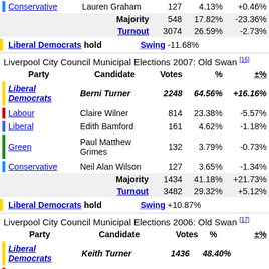| Party | Candidate | Votes | % | ±% |
| --- | --- | --- | --- | --- |
| Conservative | Lauren Graham | 127 | 4.13% | +0.46% |
|  | Majority | 548 | 17.82% | -23.36% |
|  | Turnout | 3074 | 26.59% | -2.73% |
| Liberal Democrats hold |  | Swing | -11.68% |  |
Liverpool City Council Municipal Elections 2007: Old Swan [16]
| Party | Candidate | Votes | % | ±% |
| --- | --- | --- | --- | --- |
| Liberal Democrats | Berni Turner | 2248 | 64.56% | +16.16% |
| Labour | Claire Wilner | 814 | 23.38% | -5.57% |
| Liberal | Edith Bamford | 161 | 4.62% | -1.18% |
| Green | Paul Matthew Grimes | 132 | 3.79% | -0.73% |
| Conservative | Neil Alan Wilson | 127 | 3.65% | -1.34% |
|  | Majority | 1434 | 41.18% | +21.73% |
|  | Turnout | 3482 | 29.32% | +5.12% |
| Liberal Democrats hold |  | Swing | +10.87% |  |
Liverpool City Council Municipal Elections 2006: Old Swan [17]
| Party | Candidate | Votes | % | ±% |
| --- | --- | --- | --- | --- |
| Liberal Democrats | Keith Turner | 1436 | 48.40% |  |
| Labour | Wendy Simon | 859 | 28.95% |  |